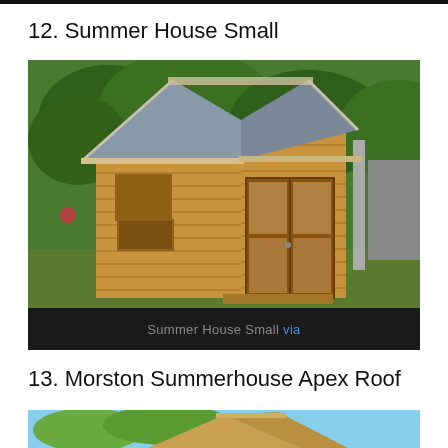12. Summer House Small
[Figure (photo): A small wooden summer house with apex roof, horizontal timber cladding, glass-panelled double doors, a side window, and a grey metal roof. The shed is set in a garden with green trees/bushes in the background and a fence on the right.]
Summer House Small via
13. Morston Summerhouse Apex Roof
[Figure (photo): Partial view of a Morston Summerhouse with apex roof, showing the timber roof ridge and upper structure against a sky and garden background.]